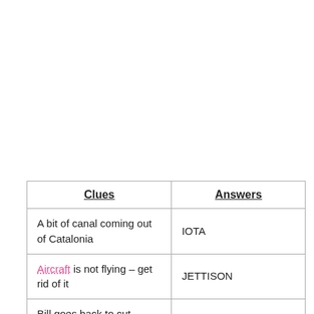| Clues | Answers |
| --- | --- |
| A bit of canal coming out of Catalonia | IOTA |
| Aircraft is not flying – get rid of it | JETTISON |
| Bill goes back to cut reddish-brown type of | WALRUS |